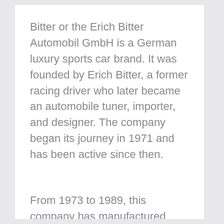Bitter or the Erich Bitter Automobil GmbH is a German luxury sports car brand. It was founded by Erich Bitter, a former racing driver who later became an automobile tuner, importer, and designer. The company began its journey in 1971 and has been active since then.
From 1973 to 1989, this company has manufactured several car models. But after that era, Bitter car productions decreased as many of them turned out to